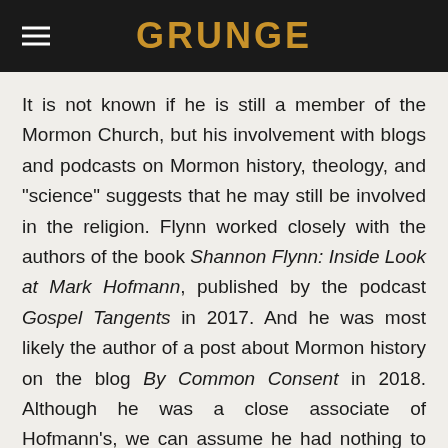GRUNGE
It is not known if he is still a member of the Mormon Church, but his involvement with blogs and podcasts on Mormon history, theology, and "science" suggests that he may still be involved in the religion. Flynn worked closely with the authors of the book Shannon Flynn: Inside Look at Mark Hofmann, published by the podcast Gospel Tangents in 2017. And he was most likely the author of a post about Mormon history on the blog By Common Consent in 2018. Although he was a close associate of Hofmann's, we can assume he had nothing to do with the forgeries or the bombs. According to Distractify, he told Gospel Tangents, "[Hofmann] is of no value. The world